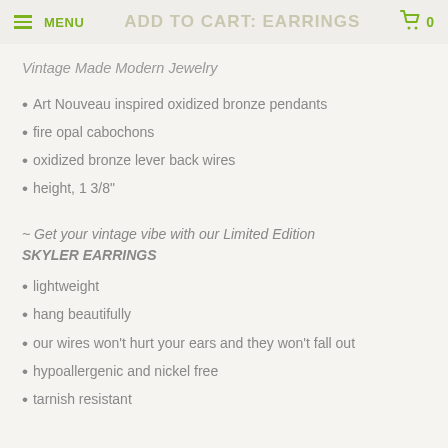MENU  ADD TO CART: EARRINGS  0
Vintage Made Modern Jewelry
Art Nouveau inspired oxidized bronze pendants
fire opal cabochons
oxidized bronze lever back wires
height, 1 3/8"
~ Get your vintage vibe with our Limited Edition SKYLER EARRINGS
lightweight
hang beautifully
our wires won't hurt your ears and they won't fall out
hypoallergenic and nickel free
tarnish resistant